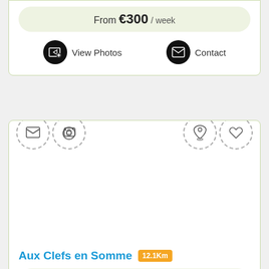From €300 / week
View Photos
Contact
Aux Clefs en Somme 12.1Km
From €70 / night
View Photos
Contact